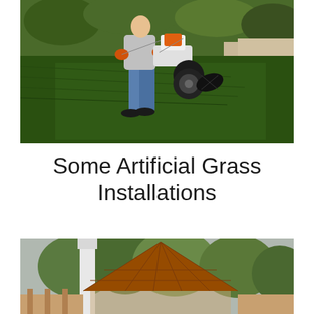[Figure (photo): Person using a gas-powered lawn edger/brush tool on artificial grass turf, with mulch bed visible on left and pavement on right, surrounded by green vegetation in background.]
Some Artificial Grass Installations
[Figure (photo): Outdoor garden area with wooden gazebo structure with tiled pyramidal roof, surrounded by trees, partially visible wooden fence.]